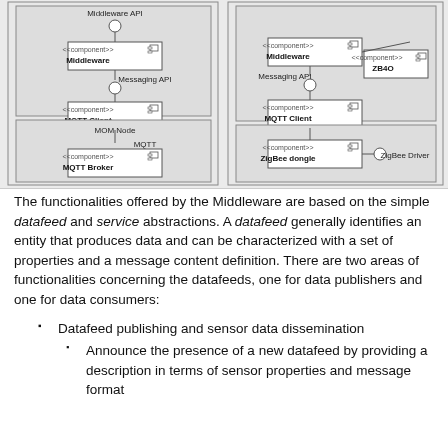[Figure (schematic): UML component diagram showing Middleware architecture with two subsystems. Left subsystem: Middleware component connected via Middleware API, below it Messaging API, then MQTT Client component; lower section shows MOM Node with MQTT and MQTT Broker component. Right subsystem: Middleware component connected via Middleware API and ZB4O API; ZB4O component and Messaging API lead to MQTT Client component; ZigBee dongle component connected via ZigBee Driver.]
The functionalities offered by the Middleware are based on the simple datafeed and service abstractions. A datafeed generally identifies an entity that produces data and can be characterized with a set of properties and a message content definition. There are two areas of functionalities concerning the datafeeds, one for data publishers and one for data consumers:
Datafeed publishing and sensor data dissemination
Announce the presence of a new datafeed by providing a description in terms of sensor properties and message format